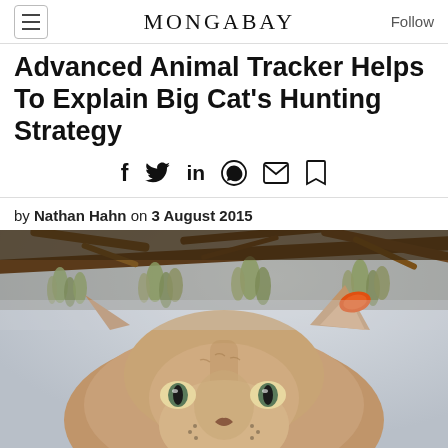MONGABAY
Advanced Animal Tracker Helps To Explain Big Cat's Hunting Strategy
by Nathan Hahn on 3 August 2015
[Figure (photo): Close-up photo of a mountain lion (cougar/puma) partially hidden under tree branches with hanging moss/lichen, looking upward, with a snowy background. The cat has an orange ear tag.]